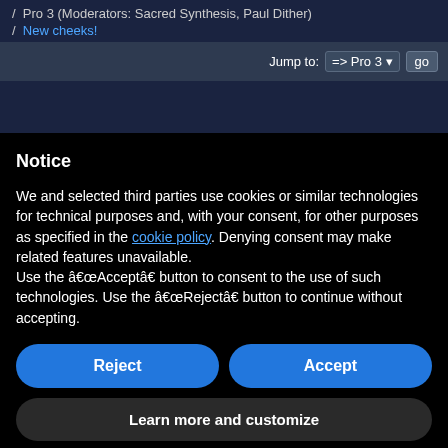/ Pro 3 (Moderators: Sacred Synthesis, Paul Dither)
/ New cheeks!
Jump to: => Pro 3  go
Notice
We and selected third parties use cookies or similar technologies for technical purposes and, with your consent, for other purposes as specified in the cookie policy. Denying consent may make related features unavailable.
Use the “Accept” button to consent to the use of such technologies. Use the “Reject” button to continue without accepting.
Reject
Accept
Learn more and customize